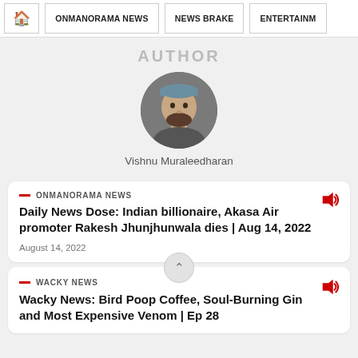🏠  ONMANORAMA NEWS  NEWS BRAKE  ENTERTAINM
Author
[Figure (photo): Circular profile photo of Vishnu Muraleedharan, a bearded man wearing a cap]
Vishnu Muraleedharan
ONMANORAMA NEWS — Daily News Dose: Indian billionaire, Akasa Air promoter Rakesh Jhunjhunwala dies | Aug 14, 2022 — August 14, 2022
WACKY NEWS — Wacky News: Bird Poop Coffee, Soul-Burning Gin and Most Expensive Venom | Ep 28